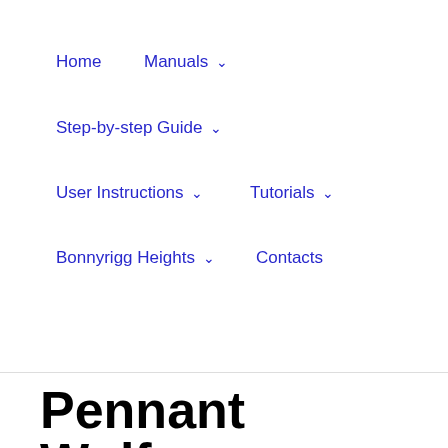Home
Manuals ⌄
Step-by-step Guide ⌄
User Instructions ⌄
Tutorials ⌄
Bonnyrigg Heights ⌄
Contacts
Pennant Wolfgang Duck...